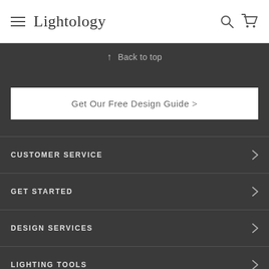Lightology
↑ Back to top
Get Our Free Design Guide >
CUSTOMER SERVICE
GET STARTED
DESIGN SERVICES
LIGHTING TOOLS